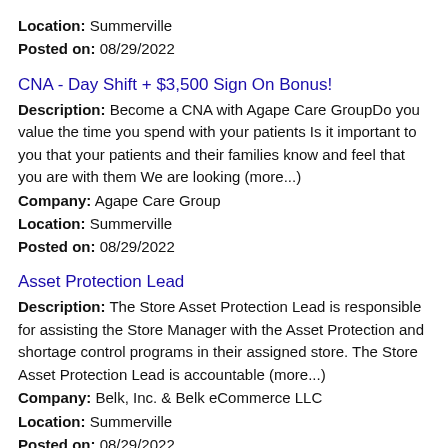Location: Summerville
Posted on: 08/29/2022
CNA - Day Shift + $3,500 Sign On Bonus!
Description: Become a CNA with Agape Care GroupDo you value the time you spend with your patients Is it important to you that your patients and their families know and feel that you are with them We are looking (more...)
Company: Agape Care Group
Location: Summerville
Posted on: 08/29/2022
Asset Protection Lead
Description: The Store Asset Protection Lead is responsible for assisting the Store Manager with the Asset Protection and shortage control programs in their assigned store. The Store Asset Protection Lead is accountable (more...)
Company: Belk, Inc. & Belk eCommerce LLC
Location: Summerville
Posted on: 08/29/2022